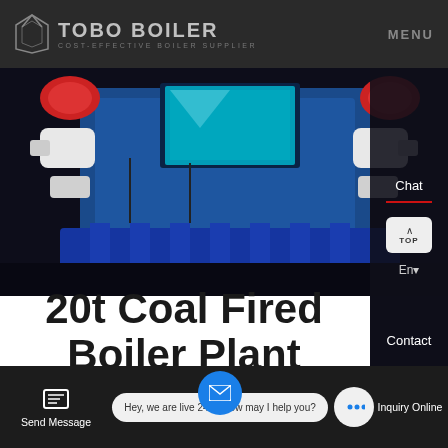[Figure (logo): TOBO BOILER logo with triangular icon - Cost-effective boiler supplier]
[Figure (photo): Industrial coal fired boiler equipment in blue and white colors with mechanical components]
20t Coal Fired Boiler Plant Cheap Russia
Chat
En
Contact
Send Message
Hey, we are live 24/7. How may I help you?
Inquiry Online